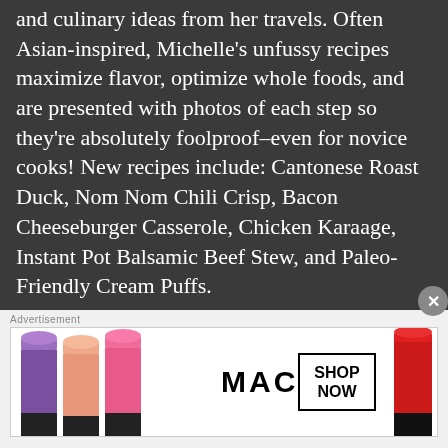and culinary ideas from her travels. Often Asian-inspired, Michelle's unfussy recipes maximize flavor, optimize whole foods, and are presented with photos of each step so they're absolutely foolproof–even for novice cooks! New recipes include: Cantonese Roast Duck, Nom Nom Chili Crisp, Bacon Cheeseburger Casserole, Chicken Karaage, Instant Pot Balsamic Beef Stew, and Paleo-Friendly Cream Puffs.
Hash Brown Fish
[Figure (illustration): Advertisement banner featuring MAC cosmetics lipsticks in purple, peach, and pink colors alongside a 'SHOP NOW' box and a red lipstick on the right.]